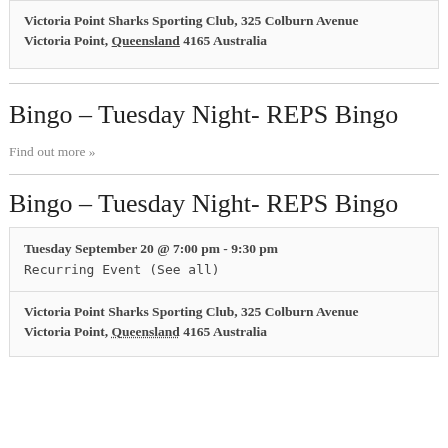Victoria Point Sharks Sporting Club, 325 Colburn Avenue
Victoria Point, Queensland 4165 Australia
Bingo – Tuesday Night- REPS Bingo
Find out more »
Bingo – Tuesday Night- REPS Bingo
Tuesday September 20 @ 7:00 pm - 9:30 pm
Recurring Event (See all)
Victoria Point Sharks Sporting Club, 325 Colburn Avenue
Victoria Point, Queensland 4165 Australia